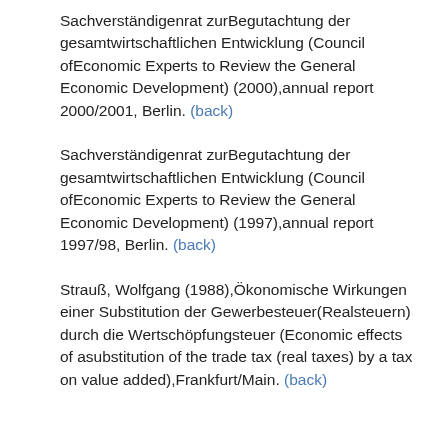Sachverständigenrat zurBegutachtung der gesamtwirtschaftlichen Entwicklung (Council ofEconomic Experts to Review the General Economic Development) (2000),annual report 2000/2001, Berlin. (back)
Sachverständigenrat zurBegutachtung der gesamtwirtschaftlichen Entwicklung (Council ofEconomic Experts to Review the General Economic Development) (1997),annual report 1997/98, Berlin. (back)
Strauß, Wolfgang (1988),Ökonomische Wirkungen einer Substitution der Gewerbesteuer(Realsteuern) durch die Wertschöpfungsteuer (Economic effects of asubstitution of the trade tax (real taxes) by a tax on value added),Frankfurt/Main. (back)